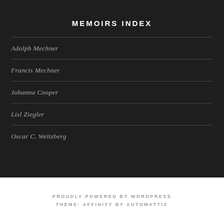MEMOIRS INDEX
Adolph Mechner
Francis Mechner
Johanna Cooper
Lisl Ziegler
Oscar C. Weitzberg
PROUDLY POWERED BY WORDPRESS
THEME: AFFINITY BY AUTOMATTIC